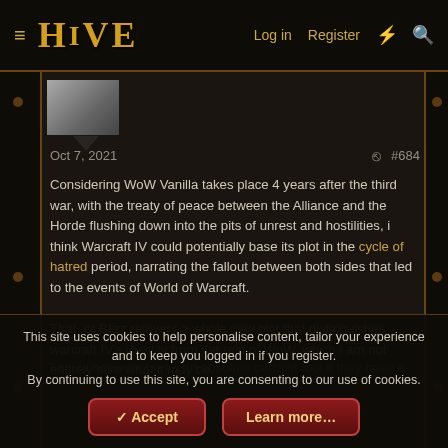HIVE — Log in  Register
Oct 7, 2021  #684
Considering WoW Vanilla takes place 4 years after the third war, with the treaty of peace between the Alliance and the Horde flushing down into the pits of unrest and hostilities, i think Warcraft IV could potentially base its plot in the cycle of hatred period, narrating the fallout between both sides that led to the events of World of Warcraft.

That, or Blizz reinvent a whole new plot that distinguishes warcraft IV's identity from the rest of WoW, which i am not entirely sure what it may be.
This site uses cookies to help personalise content, tailor your experience and to keep you logged in if you register.
By continuing to use this site, you are consenting to our use of cookies.
Accept   Learn more…